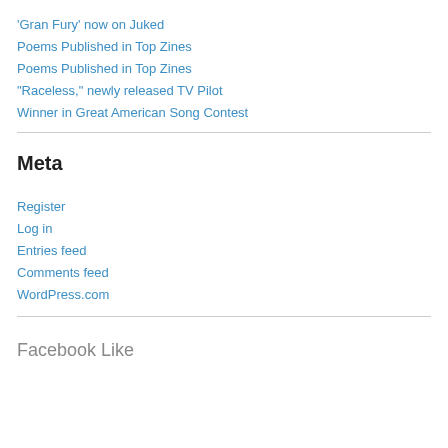'Gran Fury' now on Juked
Poems Published in Top Zines
Poems Published in Top Zines
“Raceless,” newly released TV Pilot
Winner in Great American Song Contest
Meta
Register
Log in
Entries feed
Comments feed
WordPress.com
Facebook Like